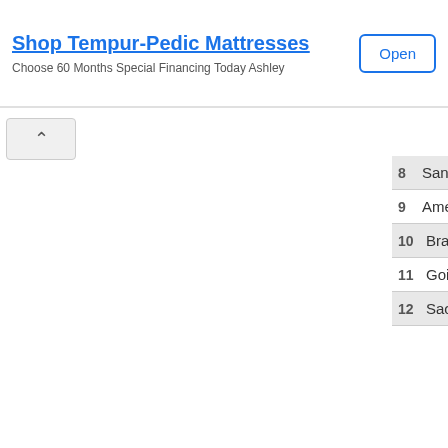[Figure (screenshot): Advertisement banner for Tempur-Pedic Mattresses with 'Open' button]
Shop Tempur-Pedic Mattresses
Choose 60 Months Special Financing Today Ashley
8 Santos
9 America Mineiro
10 Bragantino
11 Goias
12 Sao Paulo
13 Fortaleza
14 Botafogo
15 Ceara
16 Cuiaba
17 Avai
18 Coritiba
19 Atletico Goianiense
20 Juventude
advertisment
back to top